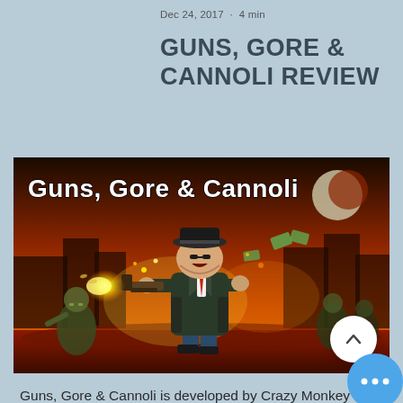Dec 24, 2017  ·  4 min
GUNS, GORE & CANNOLI REVIEW
[Figure (illustration): Game cover art for Guns, Gore & Cannoli showing a cartoon mobster character in a hat and suit firing a tommy gun, surrounded by zombies and explosions, with the game title 'Guns, Gore & Cannoli' in large white text at the top.]
Guns, Gore & Cannoli is developed by Crazy Monkey Studios, who have created a 2D side scrolling shooter like such games as Metal Slug and a zombies, cheesy comedy, and over the top action.